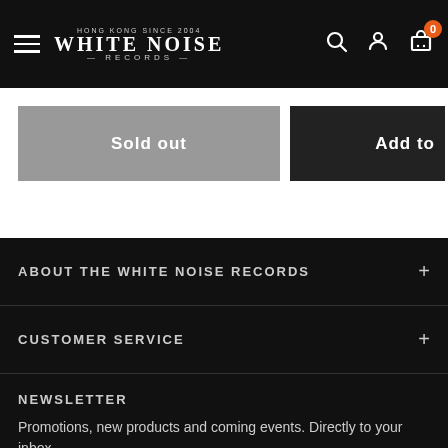WHITE NOISE RECORDS
Sold out
Add to
ABOUT THE WHITE NOISE RECORDS
CUSTOMER SERVICE
NEWSLETTER
Promotions, new products and coming events. Directly to your inbox.